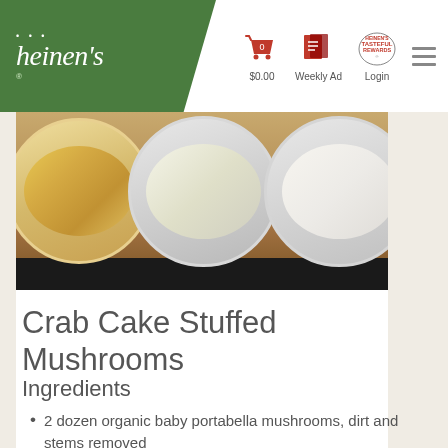heinen's  $0.00  Weekly Ad  Login
[Figure (photo): Three bowls containing different food ingredients on a wooden board against a dark background: left bowl with crumbled golden breading, center bowl with white chunky mixture, right bowl with creamy white mixture.]
Crab Cake Stuffed Mushrooms
Ingredients
2 dozen organic baby portabella mushrooms, dirt and stems removed